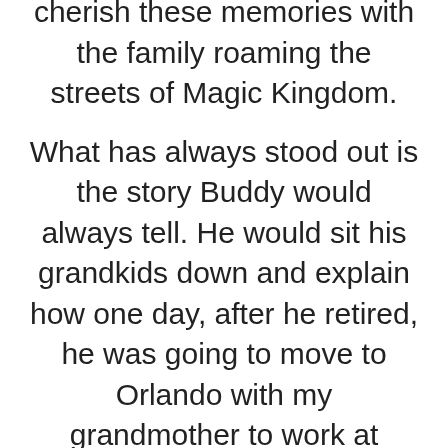cherish these memories with the family roaming the streets of Magic Kingdom.
What has always stood out is the story Buddy would always tell. He would sit his grandkids down and explain how one day, after he retired, he was going to move to Orlando with my grandmother to work at Disney World. I think I was most excited at the prospect of free tickets into the parks more so than anything else. Buddy was excited to live out his dream of retiring and going back to work (which I am sure not many people dream of doing... Retiring and going back to work).
I watched Buddy work his tail off, clipping